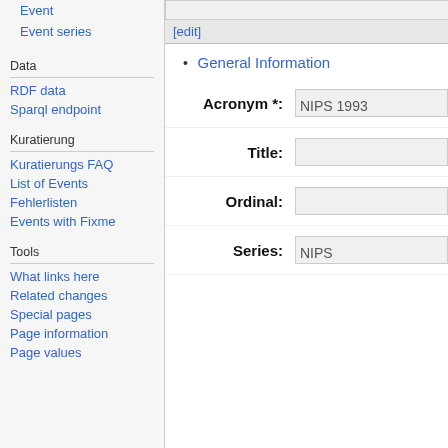Event series
Data
RDF data
Sparql endpoint
Kuratierung
Kuratierungs FAQ
List of Events
Fehlerlisten
Events with Fixme
Tools
What links here
Related changes
Special pages
Page information
Page values
[edit]
General Information
Acronym *: NIPS 1993
Title:
Ordinal:
Series: NIPS